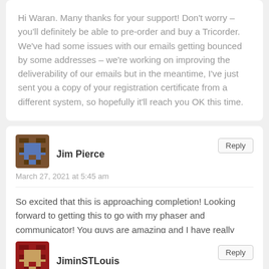Hi Waran. Many thanks for your support! Don't worry – you'll definitely be able to pre-order and buy a Tricorder. We've had some issues with our emails getting bounced by some addresses – we're working on improving the deliverability of our emails but in the meantime, I've just sent you a copy of your registration certificate from a different system, so hopefully it'll reach you OK this time.
Jim Pierce
March 27, 2021 at 5:45 am
So excited that this is approaching completion! Looking forward to getting this to go with my phaser and communicator! You guys are amazing and I have really appreciated the few times we've talked in the past!

Jim
JiminSTLouis